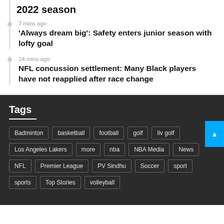2022 season
7 mins ago
'Always dream big': Safety enters junior season with lofty goal
14 mins ago
NFL concussion settlement: Many Black players have not reapplied after race change
Tags
Badminton
basketball
football
golf
liv golf
Los Angeles Lakers
more
nba
NBA Media
News
NFL
Premier League
PV Sindhu
Soccer
sport
sports
Top Stories
volleyball